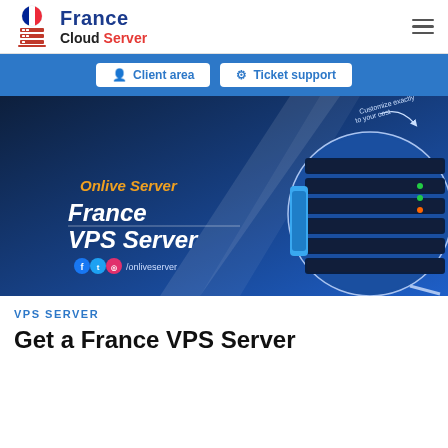[Figure (logo): France Cloud Server logo with French flag icon, blue 'France' text, black 'Cloud' and red 'Server' text]
[Figure (screenshot): Website navigation bar with blue background showing 'Client area' and 'Ticket support' buttons]
[Figure (photo): France VPS Server promotional banner with dark blue background showing a server rack image and 'Onlive Server France VPS Server' text with social media handles]
VPS SERVER
Get a France VPS Server